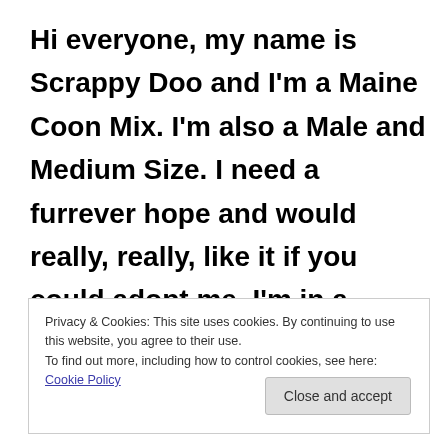Hi everyone, my name is Scrappy Doo and I'm a Maine Coon Mix. I'm also a Male and Medium Size. I need a furrever hope and would really, really, like it if you could adopt me. I'm in a
Privacy & Cookies: This site uses cookies. By continuing to use this website, you agree to their use.
To find out more, including how to control cookies, see here: Cookie Policy
Close and accept